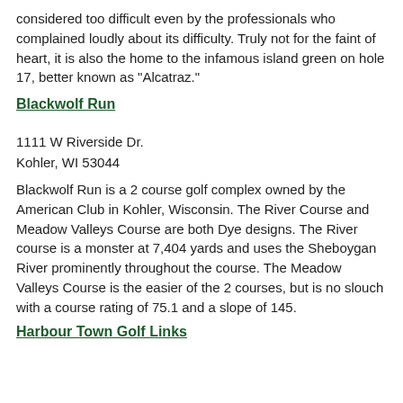considered too difficult even by the professionals who complained loudly about its difficulty. Truly not for the faint of heart, it is also the home to the infamous island green on hole 17, better known as "Alcatraz."
Blackwolf Run
1111 W Riverside Dr.
Kohler, WI 53044
Blackwolf Run is a 2 course golf complex owned by the American Club in Kohler, Wisconsin. The River Course and Meadow Valleys Course are both Dye designs. The River course is a monster at 7,404 yards and uses the Sheboygan River prominently throughout the course. The Meadow Valleys Course is the easier of the 2 courses, but is no slouch with a course rating of 75.1 and a slope of 145.
Harbour Town Golf Links